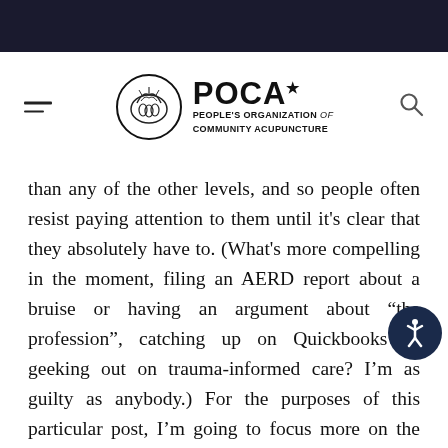POCA* PEOPLE'S ORGANIZATION of COMMUNITY ACUPUNCTURE
than any of the other levels, and so people often resist paying attention to them until it's clear that they absolutely have to. (What's more compelling in the moment, filing an AERD report about a bruise or having an argument about “the profession”, catching up on Quickbooks or geeking out on trauma-informed care? I’m as guilty as anybody.) For the purposes of this particular post, I’m going to focus more on the second level of economic access than the first level of physical safety, because in general, physical safety in acupuncture is easier to get right with a lot less effort. Proportionally it requires less attention than economic